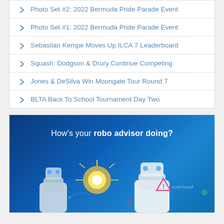Photo Set #2: 2022 Bermuda Pride Parade Event
Photo Set #1: 2022 Bermuda Pride Parade Event
Sebastian Kempe Moves Up ILCA 7 Leaderboard
Squash: Dodgson & Drury Continue Competing
Jones & DeSilva Win Moongate Tour Round 7
BLTA Back To School Tournament Day Two
[Figure (illustration): Advertisement banner with dark blue background showing robot imagery and text 'How's your robo advisor doing?' with an 'overload' warning badge.]